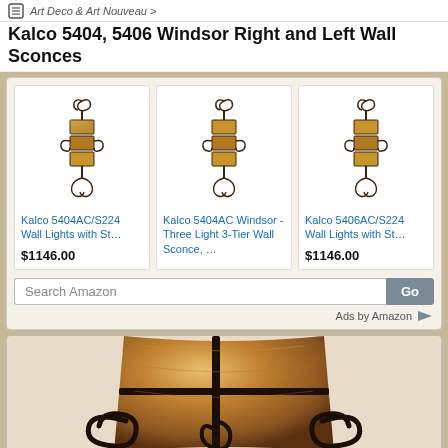Art Deco & Art Nouveau >
Kalco 5404, 5406 Windsor Right and Left Wall Sconces
[Figure (photo): Product listing ad showing three Kalco Windsor wall sconces with decorative iron scrollwork and amber glass panels]
Kalco 5404AC/S224 Wall Lights with St…
$1146.00
Kalco 5404AC Windsor - Three Light 3-Tier Wall Sconce, …
Kalco 5406AC/S224 Wall Lights with St…
$1146.00
Search Amazon
Ads by Amazon
[Figure (photo): Close-up photo of a Kalco Windsor wall sconce showing decorative dark iron scrollwork and amber/brown marbled glass shade]